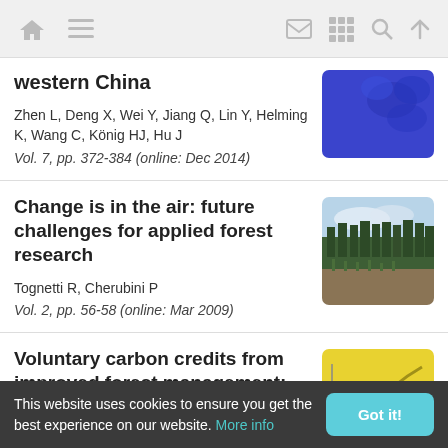Navigation bar with home, menu, email, grid, search, and up icons
western China
Zhen L, Deng X, Wei Y, Jiang Q, Lin Y, Helming K, Wang C, König HJ, Hu J
Vol. 7, pp. 372-384 (online: Dec 2014)
[Figure (photo): Thumbnail image with blue background, likely aerial or landscape photo]
Change is in the air: future challenges for applied forest research
Tognetti R, Cherubini P
Vol. 2, pp. 56-58 (online: Mar 2009)
[Figure (photo): Thumbnail photo of a forest with tall trees and cleared ground area]
Voluntary carbon credits from improved forest management:
[Figure (photo): Thumbnail image with yellow/green background showing a graph curve]
This website uses cookies to ensure you get the best experience on our website. More info